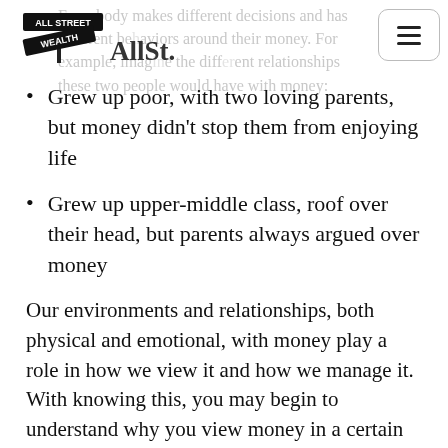AllSt. / All Street Wealth
Everybody makes different decisions and has different behaviors around their money. For example, imagine the different relationships these two people would have with money:
Grew up poor, with two loving parents, but money didn't stop them from enjoying life
Grew up upper-middle class, roof over their head, but parents always argued over money
Our environments and relationships, both physical and emotional, with money play a role in how we view it and how we manage it. With knowing this, you may begin to understand why you view money in a certain way and if it's an unhealthy viewpoint, you can then